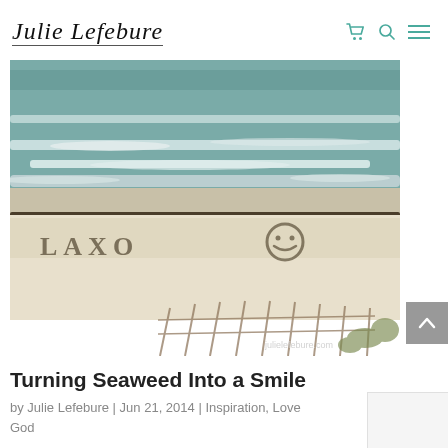Julie Lefebure
[Figure (photo): Beach photo showing ocean waves and sandy shore with text written in seaweed/sand, with a fence visible at the bottom. Watermark reads julielefebure.com]
Turning Seaweed Into a Smile
by Julie Lefebure | Jun 21, 2014 | Inspiration, Love God